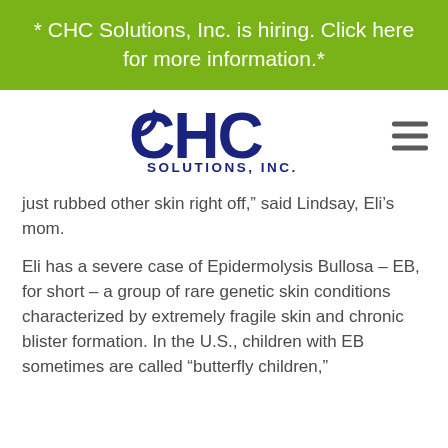* CHC Solutions, Inc. is hiring. Click here for more information.*
[Figure (logo): CHC Solutions, Inc. logo — large bold dark blue letters 'CHC' with 'SOLUTIONS, INC.' beneath in smaller caps, with a hamburger menu icon to the right]
just rubbed other skin right off,” said Lindsay, Eli’s mom.
Eli has a severe case of Epidermolysis Bullosa – EB, for short – a group of rare genetic skin conditions characterized by extremely fragile skin and chronic blister formation. In the U.S., children with EB sometimes are called “butterfly children,”